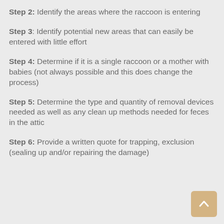Step 2: Identify the areas where the raccoon is entering
Step 3: Identify potential new areas that can easily be entered with little effort
Step 4: Determine if it is a single raccoon or a mother with babies (not always possible and this does change the process)
Step 5: Determine the type and quantity of removal devices needed as well as any clean up methods needed for feces in the attic
Step 6: Provide a written quote for trapping, exclusion (sealing up and/or repairing the damage)